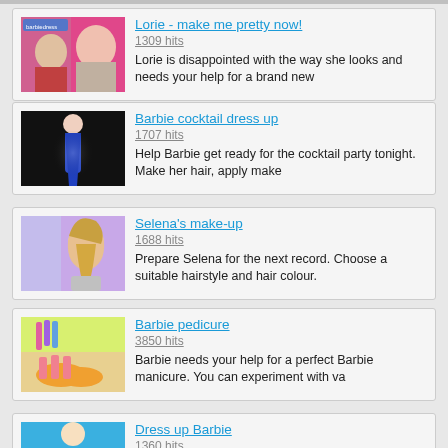[Figure (illustration): Game thumbnail for Lorie - make me pretty now! showing cartoon girls makeover scene with pink background]
Lorie - make me pretty now!
1309 hits
Lorie is disappointed with the way she looks and needs your help for a brand new
[Figure (illustration): Game thumbnail for Barbie cocktail dress up showing Barbie in blue dress on dark background]
Barbie cocktail dress up
1707 hits
Help Barbie get ready for the cocktail party tonight. Make her hair, apply make
[Figure (illustration): Game thumbnail for Selena's make-up showing cartoon girl with blonde hair on purple background]
Selena's make-up
1688 hits
Prepare Selena for the next record. Choose a suitable hairstyle and hair colour.
[Figure (illustration): Game thumbnail for Barbie pedicure showing flip flops and nail polish bottles]
Barbie pedicure
3850 hits
Barbie needs your help for a perfect Barbie manicure. You can experiment with va
[Figure (illustration): Game thumbnail for Dress up Barbie showing Barbie on blue background (partially visible)]
Dress up Barbie
1360 hits